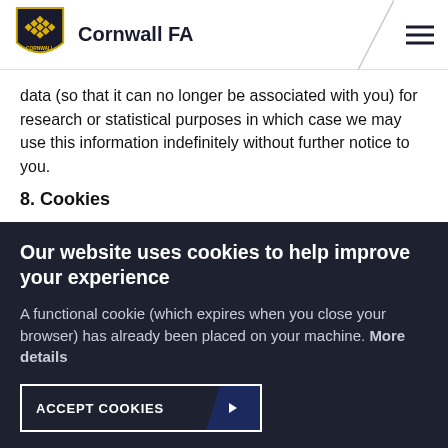Cornwall FA
data (so that it can no longer be associated with you) for research or statistical purposes in which case we may use this information indefinitely without further notice to you.
8. Cookies
When you visit our website, the website, we may collect, process and use informing about you which may not
Our website uses cookies to help improve your experience
A functional cookie (which expires when you close your browser) has already been placed on your machine. More details
ACCEPT COOKIES